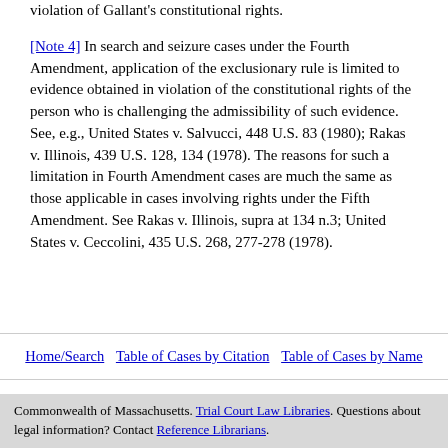statement should be suppressed because of the violation of Gallant's constitutional rights.
[Note 4] In search and seizure cases under the Fourth Amendment, application of the exclusionary rule is limited to evidence obtained in violation of the constitutional rights of the person who is challenging the admissibility of such evidence. See, e.g., United States v. Salvucci, 448 U.S. 83 (1980); Rakas v. Illinois, 439 U.S. 128, 134 (1978). The reasons for such a limitation in Fourth Amendment cases are much the same as those applicable in cases involving rights under the Fifth Amendment. See Rakas v. Illinois, supra at 134 n.3; United States v. Ceccolini, 435 U.S. 268, 277-278 (1978).
Home/Search | Table of Cases by Citation | Table of Cases by Name
Commonwealth of Massachusetts. Trial Court Law Libraries. Questions about legal information? Contact Reference Librarians.